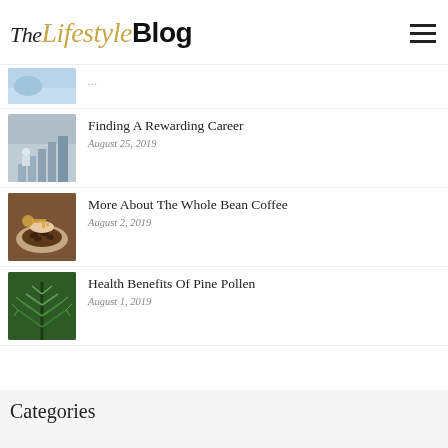The Lifestyle Blog
[Figure (photo): Partial blog thumbnail image at top, cut off]
Finding A Rewarding Career — August 25, 2019
More About The Whole Bean Coffee — August 2, 2019
Health Benefits Of Pine Pollen — August 1, 2019
Categories